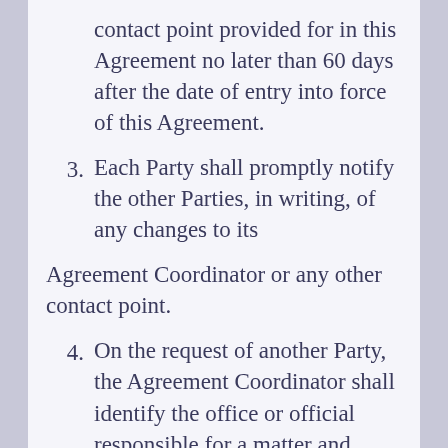contact point provided for in this Agreement no later than 60 days after the date of entry into force of this Agreement.
3. Each Party shall promptly notify the other Parties, in writing, of any changes to its
Agreement Coordinator or any other contact point.
4. On the request of another Party, the Agreement Coordinator shall identify the office or official responsible for a matter and assist, as necessary, in facilitating communication with the